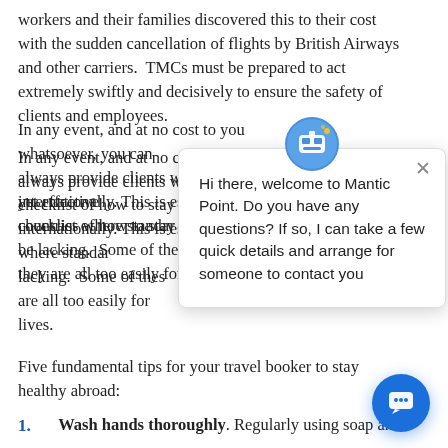workers and their families discovered this to their cost with the sudden cancellation of flights by British Airways and other carriers.  TMCs must be prepared to act extremely swiftly and decisively to ensure the safety of clients and employees.
In any event, and at no cost to you whatsoever, you can always provide clients with our simple yet effective checklist of how to stay healthy when travelling internationally. This is especially important in countries where standards of healthcare and hygiene can be lacking.  Some of these tips may sound obvious but they are all too easily forgotten – and can potentially save lives.
Five fundamental tips for your travel booker to stay healthy abroad:
1. Wash hands thoroughly. Regularly using soap and
[Figure (screenshot): Chat popup overlay from Mantic Point with avatar icon and welcome message: 'Hi there, welcome to Mantic Point. Do you have any questions? If so, I can take a few quick details and arrange for someone to contact you'. Blue circular chat button in bottom right corner.]